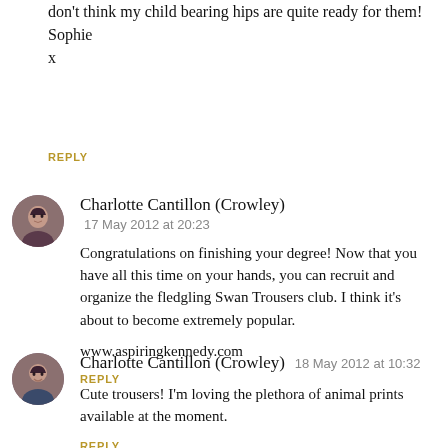don't think my child bearing hips are quite ready for them!
Sophie
x
REPLY
Charlotte Cantillon (Crowley)
17 May 2012 at 20:23
Congratulations on finishing your degree! Now that you have all this time on your hands, you can recruit and organize the fledgling Swan Trousers club. I think it's about to become extremely popular.

www.aspiringkennedy.com
REPLY
Charlotte Cantillon (Crowley)
18 May 2012 at 10:32
Cute trousers! I'm loving the plethora of animal prints available at the moment.
REPLY